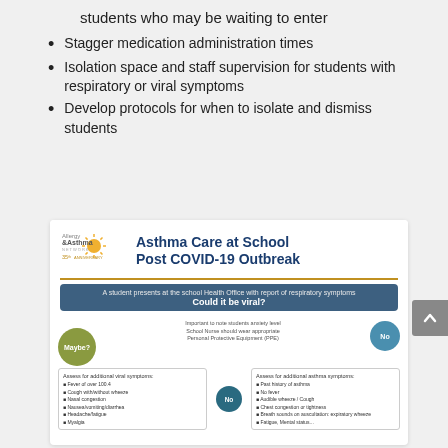students who may be waiting to enter
Stagger medication administration times
Isolation space and staff supervision for students with respiratory or viral symptoms
Develop protocols for when to isolate and dismiss students
[Figure (flowchart): Allergy & Asthma Network infographic titled 'Asthma Care at School Post COVID-19 Outbreak'. Shows a flowchart starting with a student presenting at the school Health Office with respiratory symptoms asking 'Could it be viral?' with branches for 'Maybe?' and 'No', leading to boxes assessing additional viral symptoms and asthma symptoms, with a 'No' arrow between the lower boxes.]